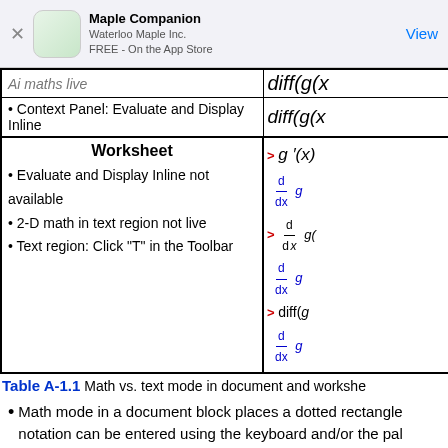Maple Companion
Waterloo Maple Inc.
FREE - On the App Store
| Worksheet |  |
| --- | --- |
| Context Panel: Evaluate and Display Inline | diff(g(x... |
| Worksheet
• Evaluate and Display Inline not available
• 2-D math in text region not live
• Text region: Click "T" in the Toolbar | g'(x)
d/dx g
d/dx g(
d/dx g
diff(g
d/dx g |
Table A-1.1  Math vs. text mode in document and workshe
Math mode in a document block places a dotted rectangle notation can be entered using the keyboard and/or the pal engine as the mathematics for which the notation stands. N Such mathematical notation can appear in the midst of t...